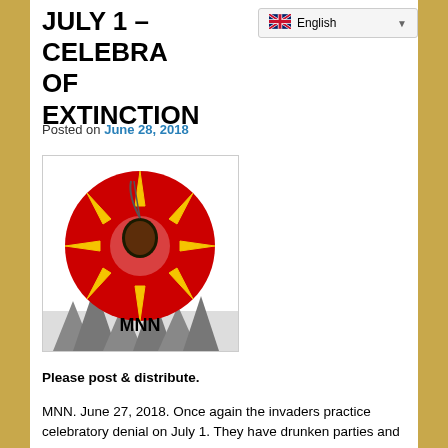JULY 1 – CELEBRATION OF EXTINCTION
Posted on June 28, 2018
[Figure (logo): MNN logo: red circle with radiating yellow sunburst and Native American profile silhouette, with text 'MNN' below, set against a background of evergreen trees]
Please post & distribute.
MNN. June 27, 2018. Once again the invaders practice celebratory denial on July 1. They have drunken parties and spout tell lies about their gross misdeeds